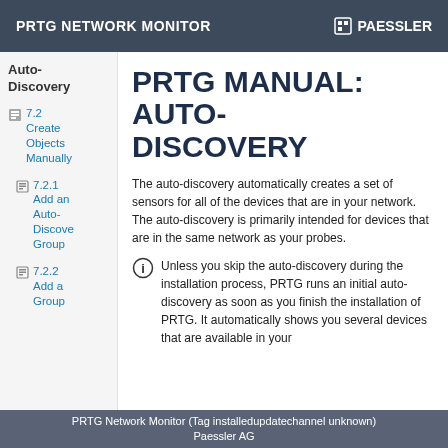PRTG NETWORK MONITOR | PAESSLER
Auto-Discovery
7.2 Create Objects Manually
7.2.1 Add an Auto-Discovery Group
7.2.2 Add a Group
PRTG MANUAL: AUTO-DISCOVERY
The auto-discovery automatically creates a set of sensors for all of the devices that are in your network. The auto-discovery is primarily intended for devices that are in the same network as your probes.
Unless you skip the auto-discovery during the installation process, PRTG runs an initial auto-discovery as soon as you finish the installation of PRTG. It automatically shows you several devices that are available in your
PRTG Network Monitor (Tag installedupdatechannel unknown)
Paessler AG